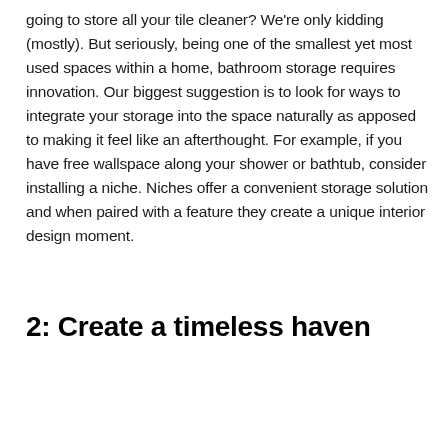going to store all your tile cleaner? We're only kidding (mostly). But seriously, being one of the smallest yet most used spaces within a home, bathroom storage requires innovation. Our biggest suggestion is to look for ways to integrate your storage into the space naturally as apposed to making it feel like an afterthought. For example, if you have free wallspace along your shower or bathtub, consider installing a niche. Niches offer a convenient storage solution and when paired with a feature they create a unique interior design moment.
2: Create a timeless haven